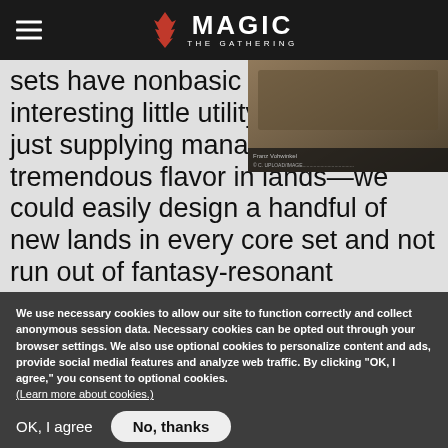MAGIC THE GATHERING
sets have nonbasic lands that do interesting little utility tricks beyond just supplying mana. Plus there's tremendous flavor in lands—we could easily design a handful of new lands in every core set and not run out of fantasy-resonant locations worth showcasing.
[Figure (screenshot): A Magic: The Gathering card image screenshot partially visible]
We use necessary cookies to allow our site to function correctly and collect anonymous session data. Necessary cookies can be opted out through your browser settings. We also use optional cookies to personalize content and ads, provide social medial features and analyze web traffic. By clicking "OK, I agree," you consent to optional cookies. (Learn more about cookies.)
OK, I agree    No, thanks